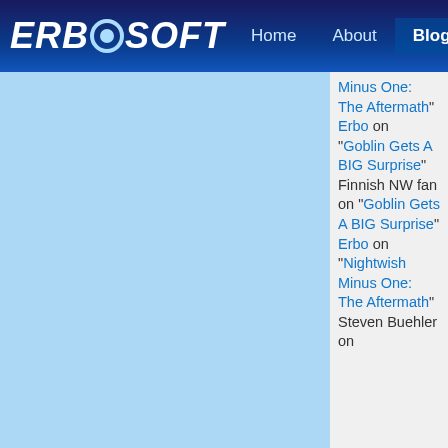ERBOSOFT — Home | About | Blog
Minus One: The Aftermath" Erbo on "Goblin Gets A BIG Surprise" Finnish NW fan on "Goblin Gets A BIG Surprise" Erbo on "Nightwish Minus One: The Aftermath" Steven Buehler on